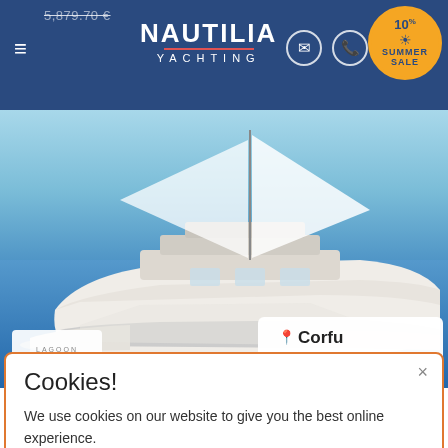Nautilia Yachting — header with price ~~5,879.70 €, Summer Sale badge
[Figure (photo): White bareboat catamaran sailing on blue sea, location badge showing Corfu (440.61km from Spetses), Lagoon logo in lower left]
Bareboat Catamaran
Cookies!
We use cookies on our website to give you the best online experience.
By using our website you agree to our use of cookies in accordance with our cookie policy.
OK